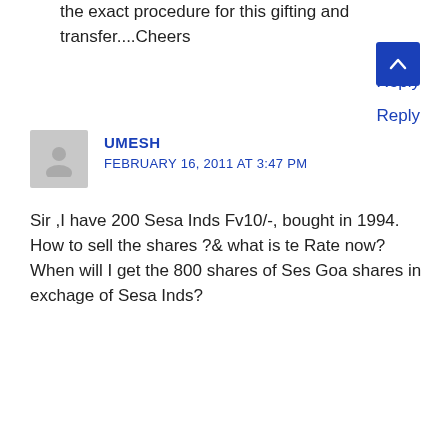the exact procedure for this gifting and transfer....Cheers
Reply
[Figure (illustration): User avatar placeholder — grey silhouette of a person on grey background]
UMESH
FEBRUARY 16, 2011 AT 3:47 PM
Sir ,I have 200 Sesa Inds Fv10/-, bought in 1994.
How to sell the shares ?& what is te Rate now?
When will I get the 800 shares of Ses Goa shares in exchage of Sesa Inds?
Reply